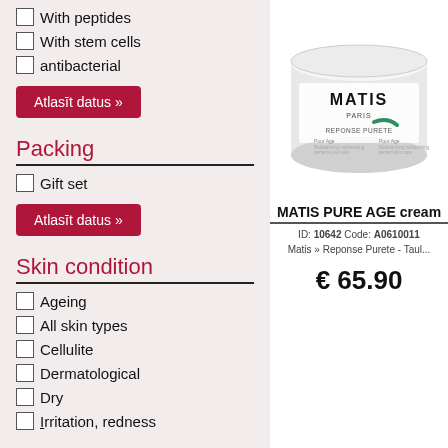With peptides
With stem cells
antibacterial
Atlasīt datus »
Packing
Gift set
Atlasīt datus »
Skin condition
Ageing
All skin types
Cellulite
Dermatological
Dry
Irritation, redness
[Figure (photo): MATIS cream jar product photo - white jar with MATIS PARIS REPONSE PURETE label]
MATIS PURE AGE cream
ID: 10642 Code: A06100111
Matis » Reponse Purete - Taul...
€ 65.90